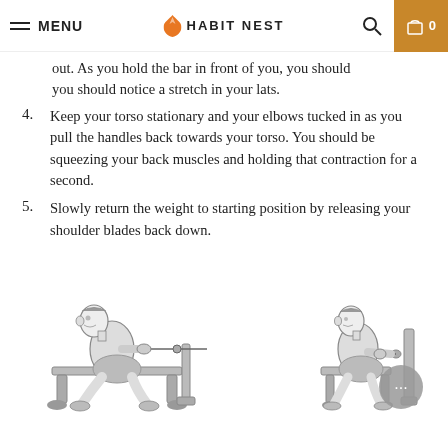MENU | HABIT NEST | 0
out. As you hold the bar in front of you, you should you should notice a stretch in your lats.
4. Keep your torso stationary and your elbows tucked in as you pull the handles back towards your torso. You should be squeezing your back muscles and holding that contraction for a second.
5. Slowly return the weight to starting position by releasing your shoulder blades back down.
[Figure (illustration): Two illustrations of a person performing a seated cable row exercise. Left: person seated on bench, leaning forward, arms extended holding cable handles. Right: person seated, arms pulled back to torso completing the row motion.]